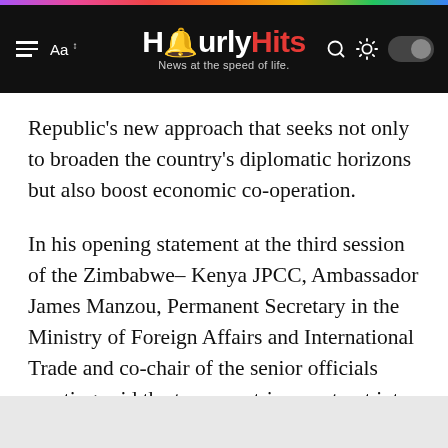HourlyHits — News at the speed of life.
Republic's new approach that seeks not only to broaden the country's diplomatic horizons but also boost economic co-operation.
In his opening statement at the third session of the Zimbabwe– Kenya JPCC, Ambassador James Manzou, Permanent Secretary in the Ministry of Foreign Affairs and International Trade and co-chair of the senior officials meeting said the two countries must put into action their words.